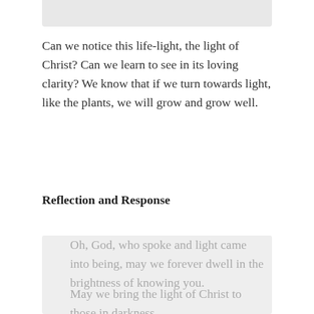Can we notice this life-light, the light of Christ?  Can we learn to see in its loving clarity? We know that if we turn towards light, like the plants, we will grow and grow well.
Reflection and Response
Oh, God, who spoke and light came into being, may we forever dwell in the brightness of knowing you.

May we bring the light of Christ to those in darkness,
may we chase away the shadows with hope